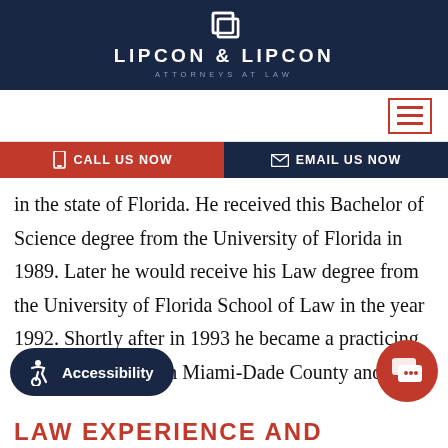[Figure (logo): Lipcon & Lipcon Attorneys at Law logo on dark navy background]
[Figure (screenshot): Navigation bar with hamburger menu icon in red border]
[Figure (infographic): CTA bar with CALL US NOW (red) and EMAIL US NOW (navy) buttons]
in the state of Florida. He received this Bachelor of Science degree from the University of Florida in 1989. Later he would receive his Law degree from the University of Florida School of Law in the year 1992. Shortly after in 1993 he became a practicing litigation attorney in Miami-Dade County and still
[Figure (illustration): Accessibility button with wheelchair icon]
[Figure (illustration): Red circular chat button]
LAW EXPERIENCE AND